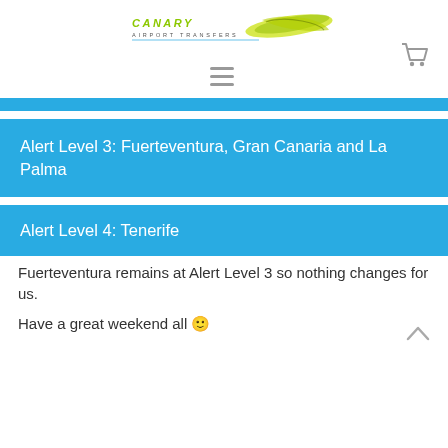[Figure (logo): Canary Airport Transfers logo with yellow-green text and graphic on white background]
[Figure (infographic): Navigation bar with hamburger menu icon and shopping cart icon]
Alert Level 3: Fuerteventura, Gran Canaria and La Palma
Alert Level 4: Tenerife
Fuerteventura remains at Alert Level 3 so nothing changes for us.
Have a great weekend all 🙂